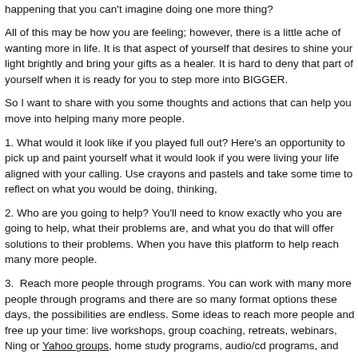1. you are just so busy and distracted trying to keep up with what's happening that you can't imagine doing one more thing?
All of this may be how you are feeling; however, there is a little ache of wanting more in life. It is that aspect of yourself that desires to shine your light brightly and bring your gifts as a healer. It is hard to deny that part of yourself when it is ready for you to step more into BIGGER.
So I want to share with you some thoughts and actions that can help you move into helping many more people.
1. What would it look like if you played full out? Here's an opportunity to pick up and paint yourself what it would look if you were living your life aligned with your calling. Use crayons and pastels and take some time to reflect on what you would be doing, thinking,
2. Who are you going to help? You'll need to know exactly who you are going to help, what their problems are, and what you do that will offer solutions to their problems. When you have this platform to help reach many more people.
3.  Reach more people through programs. You can work with many more people through programs and there are so many format options these days, the possibilities are endless. Some ideas to reach more people and free up your time: live workshops, group coaching, retreats, webinars, Ning or Yahoo groups, home study programs, audio/cd programs, and continuity (membership) programs.
Here's what I've found, most therapists have a hard time seeing outside of the box, outside of the paradigm we are accustomed to, yet there are so many possibilities to help people when we look beyond the traditional model.
If you would like to learn how you can create products and programs to leve